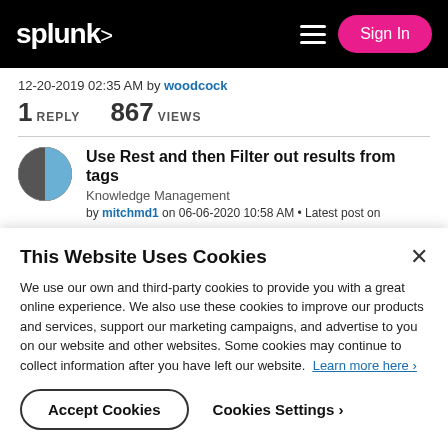splunk> Sign In
12-20-2019 02:35 AM by woodcock
1 REPLY   867 VIEWS
Use Rest and then Filter out results from tags
Knowledge Management
by mitchmd1 on 06-06-2020 10:58 AM • Latest post on
This Website Uses Cookies
We use our own and third-party cookies to provide you with a great online experience. We also use these cookies to improve our products and services, support our marketing campaigns, and advertise to you on our website and other websites. Some cookies may continue to collect information after you have left our website. Learn more here ›
Accept Cookies   Cookies Settings ›